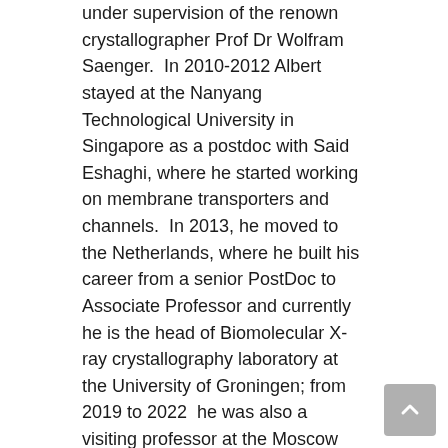under supervision of the renown crystallographer Prof Dr Wolfram Saenger.  In 2010-2012 Albert stayed at the Nanyang Technological University in Singapore as a postdoc with Said Eshaghi, where he started working on membrane transporters and channels.  In 2013, he moved to the Netherlands, where he built his career from a senior PostDoc to Associate Professor and currently he is the head of Biomolecular X-ray crystallography laboratory at the University of Groningen; from 2019 to 2022  he was also a visiting professor at the Moscow Institute of Physics and Technology, where he was the head of cryo-Electron Microscopy laboratory. Albert Guskov has published over 50 scientific publications (>3400 citations, h-index 25) and is regularly invited as a speaker to the national and international scientific meetings. Guskov's lab at the University of Groningen combines state-of-the-art